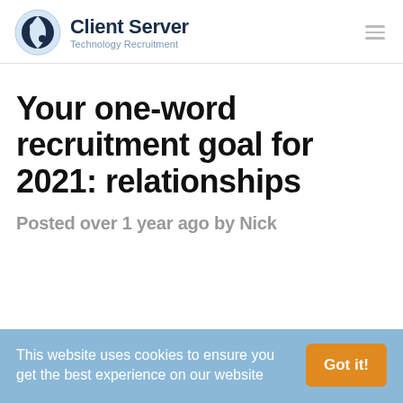[Figure (logo): Client Server Technology Recruitment logo with circular icon and company name]
Your one-word recruitment goal for 2021: relationships
Posted over 1 year ago by Nick
This website uses cookies to ensure you get the best experience on our website